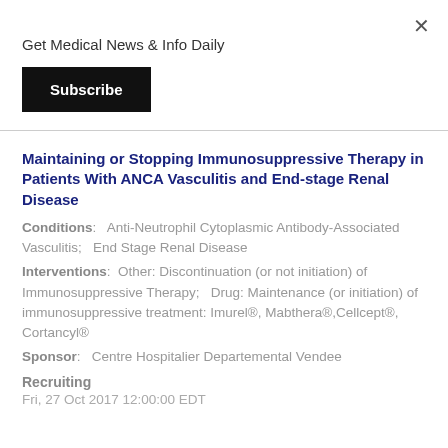Get Medical News & Info Daily
Subscribe
Maintaining or Stopping Immunosuppressive Therapy in Patients With ANCA Vasculitis and End-stage Renal Disease
Conditions:   Anti-Neutrophil Cytoplasmic Antibody-Associated Vasculitis;   End Stage Renal Disease
Interventions:  Other: Discontinuation (or not initiation) of Immunosuppressive Therapy;   Drug: Maintenance (or initiation) of immunosuppressive treatment: Imurel®, Mabthera®,Cellcept®, Cortancyl®
Sponsor:  Centre Hospitalier Departemental Vendee
Recruiting
Fri, 27 Oct 2017 12:00:00 EDT